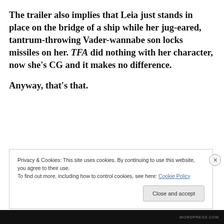The trailer also implies that Leia just stands in place on the bridge of a ship while her jug-eared, tantrum-throwing Vader-wannabe son locks missiles on her. TFA did nothing with her character, now she's CG and it makes no difference.
Anyway, that's that.
Privacy & Cookies: This site uses cookies. By continuing to use this website, you agree to their use.
To find out more, including how to control cookies, see here: Cookie Policy
WORDPRESS.COM